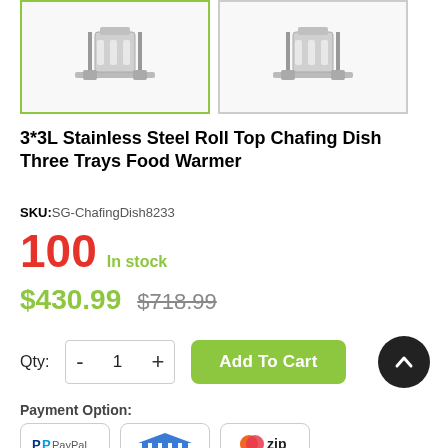[Figure (photo): Two product thumbnail images of a stainless steel roll top chafing dish. The left thumbnail has a green border (selected), the right has a grey border.]
3*3L Stainless Steel Roll Top Chafing Dish Three Trays Food Warmer
SKU: SG-ChafingDish8233
100 In stock
$430.99 $718.99
Qty: - 1 + Add To Cart
Payment Option:
[Figure (logo): PayPal payment logo]
[Figure (logo): Bank transfer payment logo]
[Figure (logo): Zip payment logo]